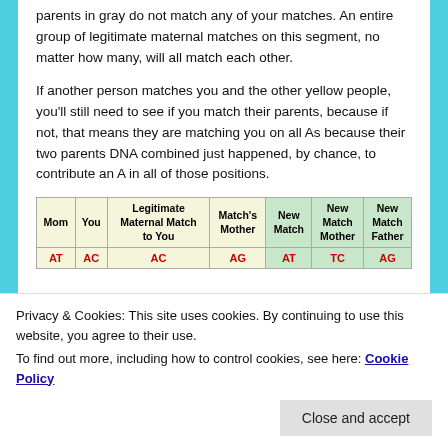parents in gray do not match any of your matches. An entire group of legitimate maternal matches on this segment, no matter how many, will all match each other.
If another person matches you and the other yellow people, you'll still need to see if you match their parents, because if not, that means they are matching you on all As because their two parents DNA combined just happened, by chance, to contribute an A in all of those positions.
| Mom | You | Legitimate Maternal Match to You | Match's Mother | New Match | New Match Mother | New Match Father |
| --- | --- | --- | --- | --- | --- | --- |
| AT | AC | AC | AG | AT | TC | AG |
Privacy & Cookies: This site uses cookies. By continuing to use this website, you agree to their use.
To find out more, including how to control cookies, see here: Cookie Policy